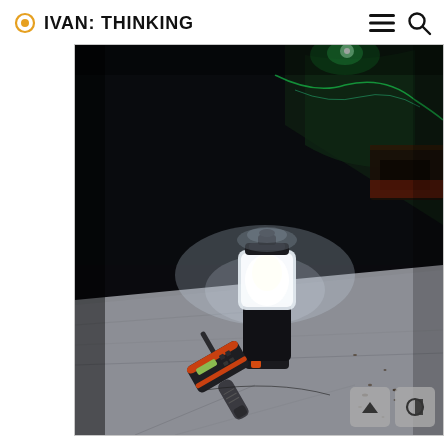IVAN: THINKING
[Figure (photo): Night photo of a camping lantern glowing white light on a table with a walkie-talkie/radio device lying beside it and green-lit decorations visible in the dark background.]